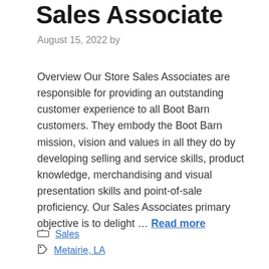Sales Associate
August 15, 2022 by
Overview Our Store Sales Associates are responsible for providing an outstanding customer experience to all Boot Barn customers. They embody the Boot Barn mission, vision and values in all they do by developing selling and service skills, product knowledge, merchandising and visual presentation skills and point-of-sale proficiency. Our Sales Associates primary objective is to delight … Read more
Sales
Metairie, LA